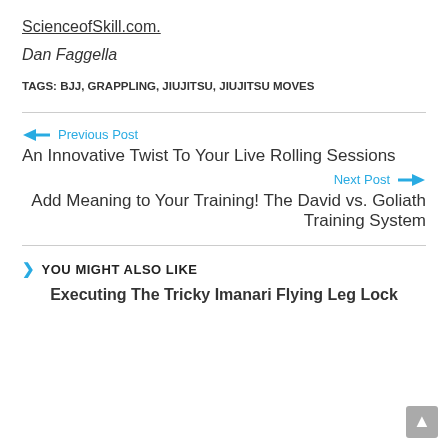ScienceofSkill.com.
Dan Faggella
TAGS: BJJ, GRAPPLING, JIUJITSU, JIUJITSU MOVES
← Previous Post
An Innovative Twist To Your Live Rolling Sessions
Next Post →
Add Meaning to Your Training! The David vs. Goliath Training System
YOU MIGHT ALSO LIKE
Executing The Tricky Imanari Flying Leg Lock